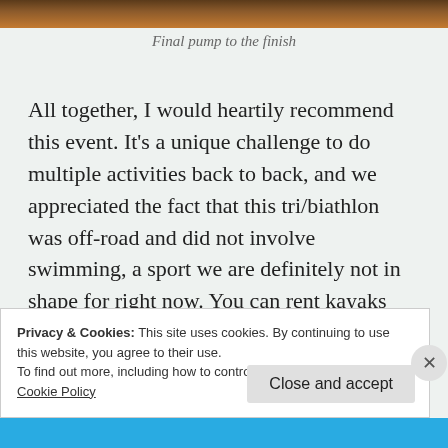[Figure (photo): Partial photo strip at top of page showing dark warm-toned image]
Final pump to the finish
All together, I would heartily recommend this event. It’s a unique challenge to do multiple activities back to back, and we appreciated the fact that this tri/biathlon was off-road and did not involve swimming, a sport we are definitely not in shape for right now. You can rent kayaks through several different outdoor vendors connected to the race which is helpful if you
Privacy & Cookies: This site uses cookies. By continuing to use this website, you agree to their use.
To find out more, including how to control cookies, see here:
Cookie Policy
Close and accept